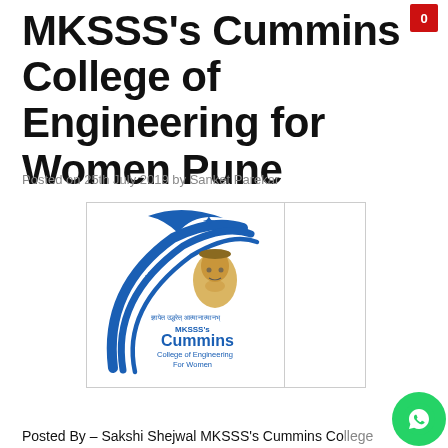MKSSS's Cummins College of Engineering for Women Pune
Posted on 25th July 2019 by Sanket Parekar
[Figure (logo): MKSSS's Cummins College of Engineering for Women logo — blue swooping arc with a star, portrait of a person wearing a cap, and text in Marathi and English reading 'MKSSS's Cummins College of Engineering For Women']
Posted By – Sakshi Shejwal MKSSS's Cummins Co...